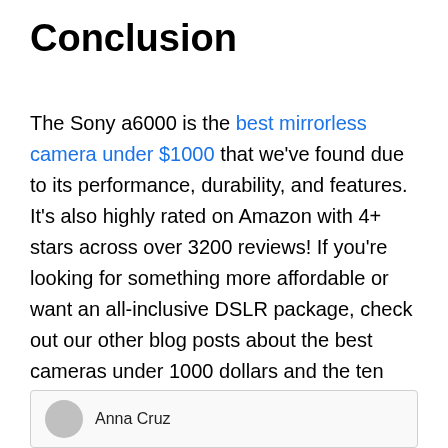Conclusion
The Sony a6000 is the best mirrorless camera under $1000 that we've found due to its performance, durability, and features. It's also highly rated on Amazon with 4+ stars across over 3200 reviews! If you're looking for something more affordable or want an all-inclusive DSLR package, check out our other blog posts about the best cameras under 1000 dollars and the ten most popular digital SLRs of 2018. We hope this article has helped narrow down your search so you can find your perfect camera today! Happy shopping.
Anna Cruz